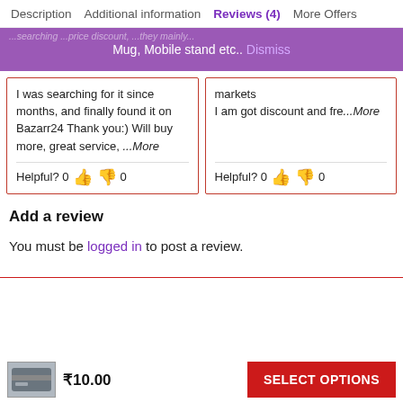Description   Additional information   Reviews (4)   More Offers
Mug, Mobile stand etc..  Dismiss
I was searching for it since months, and finally found it on Bazarr24 Thank you:) Will buy more, great service, ...More
Helpful? 0 👍 👎 0
markets
I am got discount and fre...More
Helpful? 0 👍 👎 0
Add a review
You must be logged in to post a review.
₹10.00   SELECT OPTIONS